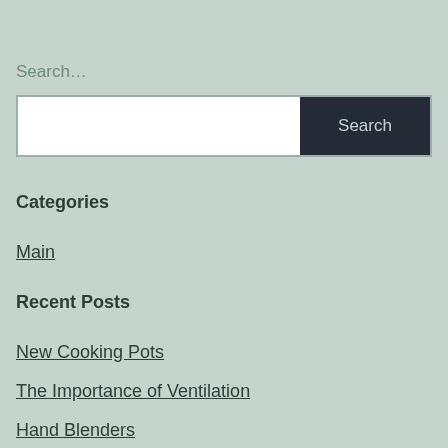Search…
Search
Categories
Main
Recent Posts
New Cooking Pots
The Importance of Ventilation
Hand Blenders